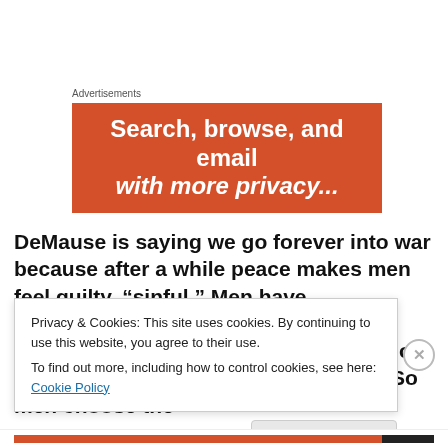Advertisements
[Figure (other): Orange advertisement banner with white bold text reading 'Search, browse, and email with...' (partially visible)]
DeMause is saying we go forever into war because after a while peace makes men feel guilty, “sinful.” Men have uncomfortable, even shameful…homophobic…feelings of being “soft” or “feminine” when their lives are good. So men choose the
Privacy & Cookies: This site uses cookies. By continuing to use this website, you agree to their use.
To find out more, including how to control cookies, see here: Cookie Policy
Close and accept